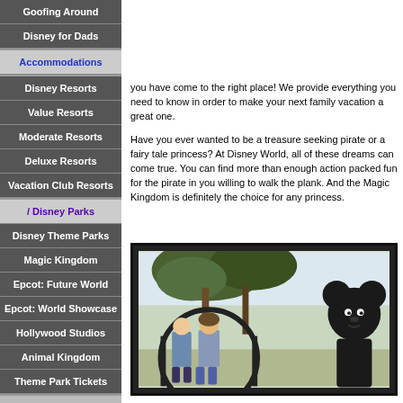Goofing Around
Disney for Dads
Accommodations
Disney Resorts
Value Resorts
Moderate Resorts
Deluxe Resorts
Vacation Club Resorts
Disney Parks
Disney Theme Parks
Magic Kingdom
Epcot: Future World
Epcot: World Showcase
Hollywood Studios
Animal Kingdom
Theme Park Tickets
Downtown Disney
Marketplace
you have come to the right place! We provide everything you need to know in order to make your next family vacation a great one.
Have you ever wanted to be a treasure seeking pirate or a fairy tale princess? At Disney World, all of these dreams can come true. You can find more than enough action packed fun for the pirate in you willing to walk the plank. And the Magic Kingdom is definitely the choice for any princess.
[Figure (photo): Photo of two children posed in front of Mickey Mouse ears arch and trees at Disney World]